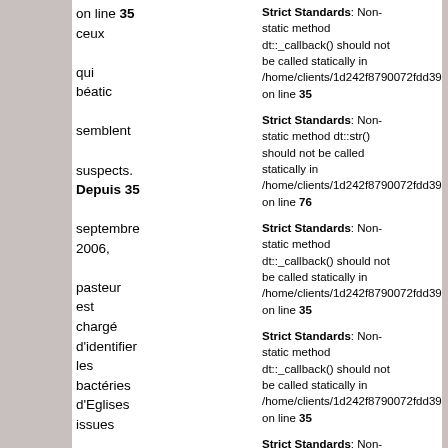on line 35 ceux qui béatific semblent suspects. Depuis septembre 2006, pasteur est chargé d'identifier les bactéries d'Eglises issues l'immigration africaines, coréennes, chinoises,
Strict Standards: Non-static method dt::_callback() should not be called statically in /home/clients/1d242f8790072fdd395c on line 35
Strict Standards: Non-static method dt::str() should not be called statically in /home/clients/1d242f8790072fdd395c on line 76
Strict Standards: Non-static method dt::_callback() should not be called statically in /home/clients/1d242f8790072fdd395c on line 35
Strict Standards: Non-static method dt::_callback() should not be called statically in /home/clients/1d242f8790072fdd395c on line 35
Strict Standards: Non-static method dt::str()